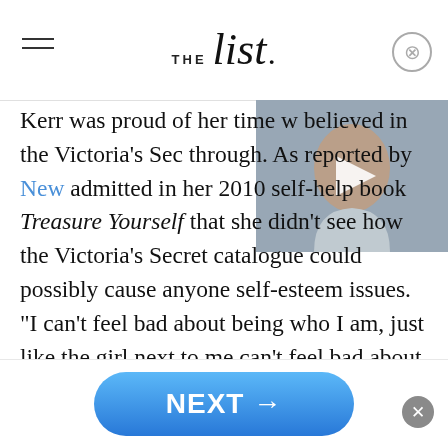THE list
[Figure (photo): Woman smiling with long dark hair, video overlay with play button]
Kerr was proud of her time w believed in the Victoria's Sec through. As reported by New admitted in her 2010 self-help book Treasure Yourself that she didn't see how the Victoria's Secret catalogue could possibly cause anyone self-esteem issues. "I can't feel bad about being who I am, just like the girl next to me can't feel bad about being who she is," she said, further noting, "Because a rose can never be a sunflower, and a sunflower can never be a rose."
NEXT →